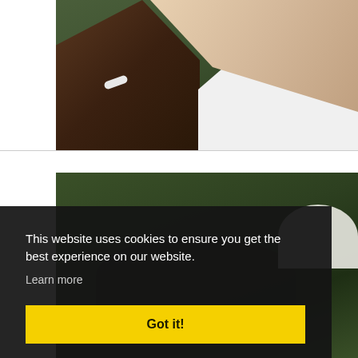[Figure (photo): Photo of two people on grass - one with dark skin wearing a white wristband, one with blonde hair wearing a white shirt, outdoors on green grass]
[Figure (photo): Outdoor event photo showing dark umbrella/shade structure and white umbrella/parasol, trees in background, person in suit visible on right]
This website uses cookies to ensure you get the best experience on our website. Learn more
Got it!